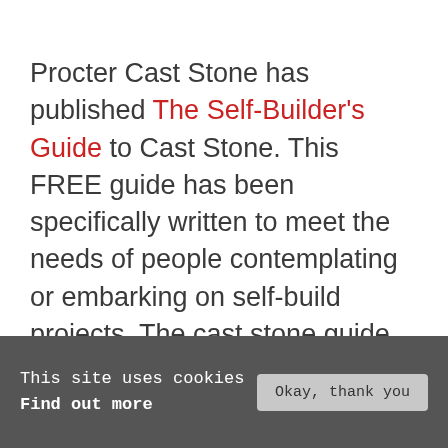Procter Cast Stone has published The Self-Builder's Guide to Cast Stone. This FREE guide has been specifically written to meet the needs of people contemplating or embarking on self-build projects. The cast stone guide explains what this versatile construction material can be used for, how it is manufactured and how easy it is to work with – both in terms of design and installation. Illustrated
This site uses cookies
Find out more
Okay, thank you